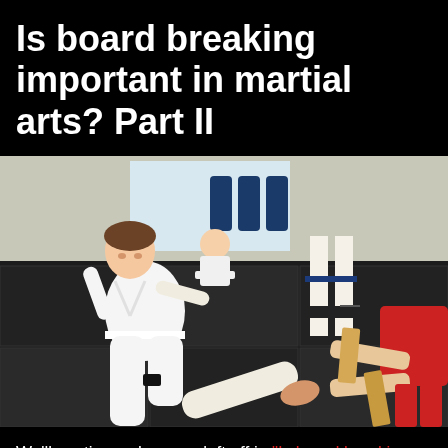Is board breaking important in martial arts? Part II
[Figure (photo): A young girl in a white martial arts gi executes a kick aimed at a wooden board held by a person in a red shirt on the right. In the background, a child in white sits cross-legged watching, and an adult with a blue belt stands near the wall where martial arts equipment is displayed. The setting is a dojo with dark mat flooring.]
We'll continue where we left off in "Is board breaking